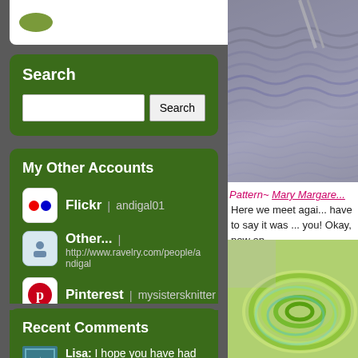[Figure (screenshot): Top widget with green oval logo, partially visible at top of left sidebar]
Search
[Figure (screenshot): Search input field and Search button]
My Other Accounts
Flickr | andigal01
Other... | http://www.ravelry.com/people/andigal
Pinterest | mysistersknitter
Recent Comments
Lisa: I hope you have had a great
[Figure (photo): Knitting in progress, grey/blue yarn on needles]
Pattern~ Mary Margare...
Here we meet agai... have to say it was ... you! Okay, now on...
[Figure (photo): Colorful green and teal yarn skein]